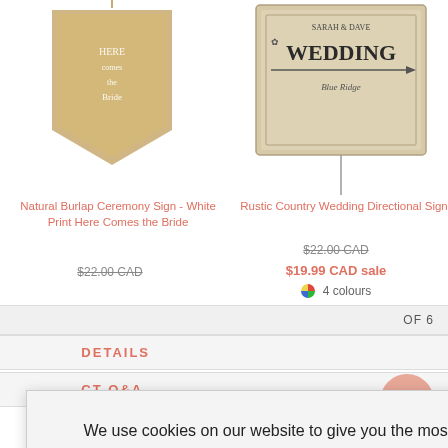[Figure (photo): Natural Burlap Ceremony Sign product image - kraft paper pennant banner with white text]
[Figure (photo): Rustic Country Wedding Directional Sign product image - vintage style sign on stick]
Natural Burlap Ceremony Sign - White Print Here Comes the Bride
$22.00 CAD (strikethrough)
Rustic Country Wedding Directional Sign
$22.00 CAD (strikethrough)
$19.99 CAD sale
4 colours
OF 6
DETAILS
CT Q&A
We use cookies on our website to give you the most relevant experience and for personalized ads by remembering your preferences and repeat visits. By Clicking "Accept", you consent to the use of ALL the cookies.
YES, I ACCEPT
More Info